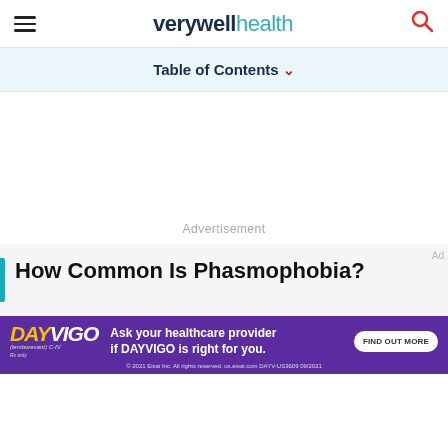verywell health
Table of Contents
Advertisement
How Common Is Phasmophobia?
[Figure (screenshot): DAYVIGO advertisement banner: Ask your healthcare provider if DAYVIGO is right for you. FIND OUT MORE. © 2021 Eisai Inc. All rights reserved. us.eisai.com DAYV-US3609 09/2021]